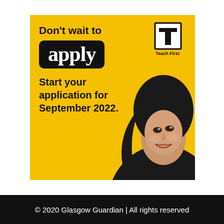[Figure (infographic): Teach First advertisement on yellow background. Text reads 'Don't wait to apply' with 'apply' in white bold serif font on black rounded rectangle. Below: 'Start your application for September 2022.' Teach First logo (bold T in box with 'Teach First' text) in top right. Photo of smiling young woman wearing black hijab on right side.]
© 2020 Glasgow Guardian | All rights reserved